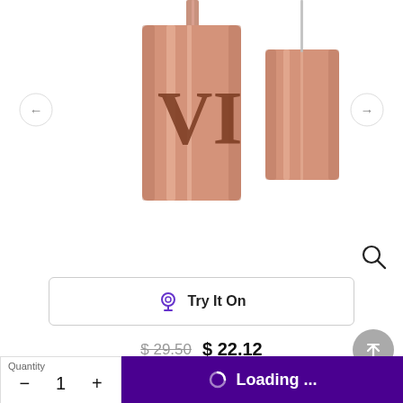[Figure (photo): A rose gold/copper-toned perfume or foundation bottle with 'VI' engraved on the front, shown with cap removed beside it. White background product shot cropped at top.]
Try It On
$ 29.50  $ 22.12
Select a shade
More shades
Quantity
- 1 +
Loading ...